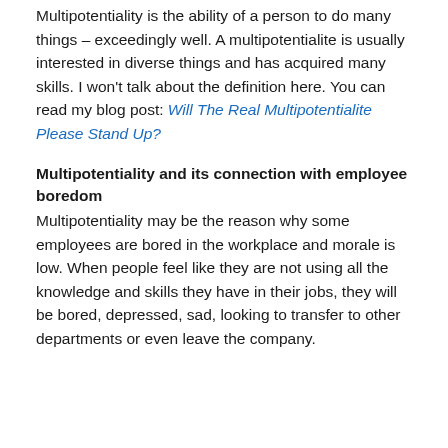Multipotentiality is the ability of a person to do many things – exceedingly well. A multipotentialite is usually interested in diverse things and has acquired many skills. I won't talk about the definition here. You can read my blog post: Will The Real Multipotentialite Please Stand Up?
Multipotentiality and its connection with employee boredom
Multipotentiality may be the reason why some employees are bored in the workplace and morale is low. When people feel like they are not using all the knowledge and skills they have in their jobs, they will be bored, depressed, sad, looking to transfer to other departments or even leave the company.